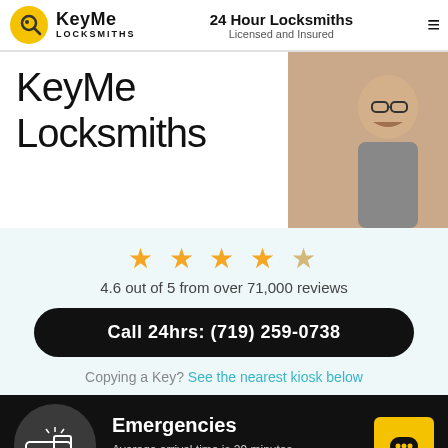KeyMe Locksmiths | 24 Hour Locksmiths Licensed and Insured
KeyMe Locksmiths
[Figure (photo): Photo of a man with glasses and beard working on a lock]
4.6 out of 5 from over 71,000 reviews
Call 24hrs: (719) 259-0738
Copying a Key? See the nearest kiosk below
Emergencies
Average arrival time is 29 minutes
Call now: (719) 259-0738